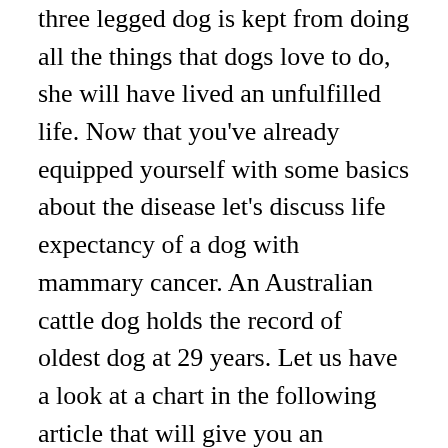three legged dog is kept from doing all the things that dogs love to do, she will have lived an unfulfilled life. Now that you've already equipped yourself with some basics about the disease let's discuss life expectancy of a dog with mammary cancer. An Australian cattle dog holds the record of oldest dog at 29 years. Let us have a look at a chart in the following article that will give you an approximate idea about the lifespan of dogs. They love trotting over to the source of that good scent they just caught. Explore one of the largest Dog Longevity Databases in the World. Posted Sep 24, 2015 Once a diagnosis is made, it's important to understand that your dog's life expectancy ... HOME; ABOUT. Life expectancy of a dog with